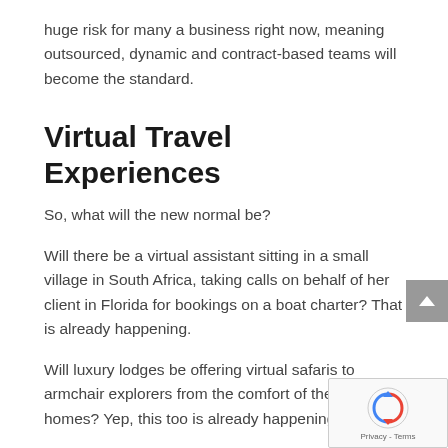huge risk for many a business right now, meaning outsourced, dynamic and contract-based teams will become the standard.
Virtual Travel Experiences
So, what will the new normal be?
Will there be a virtual assistant sitting in a small village in South Africa, taking calls on behalf of her client in Florida for bookings on a boat charter? That is already happening.
Will luxury lodges be offering virtual safaris to armchair explorers from the comfort of their own homes? Yep, this too is already happening.
Or will we still crave the immersive, cultural and human interactions that force us to get out there and explore more? This too will definitely happen, it